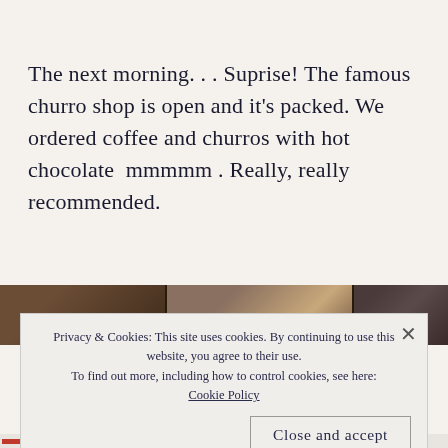The next morning. . . Suprise! The famous churro shop is open and it's packed. We ordered coffee and churros with hot chocolate  mmmmm . Really, really recommended.
[Figure (photo): A strip of three photos showing interior scenes of what appears to be a churro shop or café — dark warm tones with wooden and metallic elements.]
Privacy & Cookies: This site uses cookies. By continuing to use this website, you agree to their use.
To find out more, including how to control cookies, see here: Cookie Policy
Close and accept